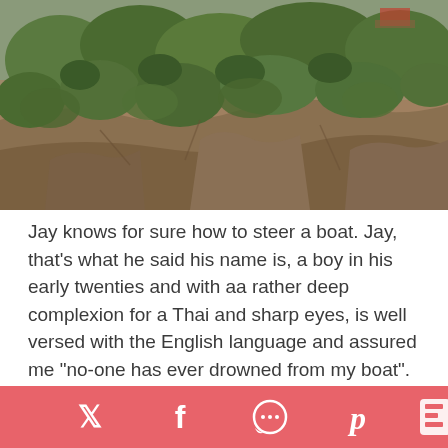[Figure (photo): Photograph of a rocky cliff face covered with green trees and shrubs, with what appears to be structures visible at the top right.]
Jay knows for sure how to steer a boat. Jay, that's what he said his name is, a boy in his early twenties and with aa rather deep complexion for a Thai and sharp eyes, is well versed with the English language and assured me “no-one has ever drowned from my boat”. He tells us the Bird’s nest soup, a delicacy for Thai royalty, is collected by the cliff-dwellers. Claim
[Figure (infographic): Social media sharing bar with icons for Twitter, Facebook, WhatsApp, Pinterest, and Flipboard on a coral/salmon red background.]